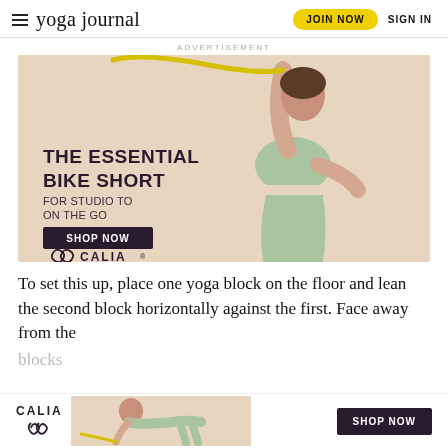yoga journal | JOIN NOW | SIGN IN
ADVERTISEMENT
[Figure (illustration): Calia advertisement showing a woman in mint green athletic wear (sports bra and bike shorts) stretching with a resistance band raised above her head. Text reads: THE ESSENTIAL BIKE SHORT FOR STUDIO TO ON THE GO. SHOP NOW button. CALIA logo.]
To set this up, place one yoga block on the floor and lean the second block horizontally against the first. Face away from the blocks
[Figure (illustration): Bottom sticky ad bar with CALIA logo and a woman doing a plank exercise, with SHOP NOW button]